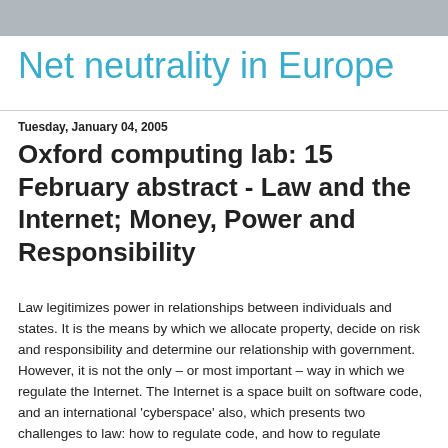Net neutrality in Europe
Net neutrality in Europe
Tuesday, January 04, 2005
Oxford computing lab: 15 February abstract - Law and the Internet; Money, Power and Responsibility
Law legitimizes power in relationships between individuals and states. It is the means by which we allocate property, decide on risk and responsibility and determine our relationship with government. However, it is not the only – or most important – way in which we regulate the Internet. The Internet is a space built on software code, and an international 'cyberspace' also, which presents two challenges to law: how to regulate code, and how to regulate internationally. That by no means makes the Internet ungovernable or 'unregulable' – it does make it more complex and requires more international coordination. However, arguably the same applies to other 'global public goods' – international environments in which the good produced is not privately available, non-excludable and not diminished by this 'unauthorised'